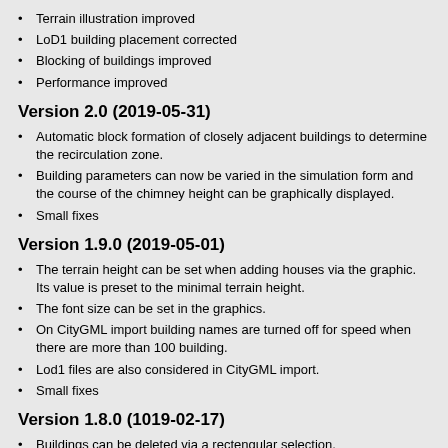Terrain illustration improved
LoD1 building placement corrected
Blocking of buildings improved
Performance improved
Version 2.0 (2019-05-31)
Automatic block formation of closely adjacent buildings to determine the recirculation zone.
Building parameters can now be varied in the simulation form and the course of the chimney height can be graphically displayed.
Small fixes
Version 1.9.0 (2019-05-01)
The terrain height can be set when adding houses via the graphic. Its value is preset to the minimal terrain height.
The font size can be set in the graphics.
On CityGML import building names are turned off for speed when there are more than 100 building.
Lod1 files are also considered in CityGML import.
Small fixes
Version 1.8.0 (1019-02-17)
Buildings can be deleted via a rectengular selection.
Buildings can be imported from Lod2 gml files. This function is Beta!
Small fixes